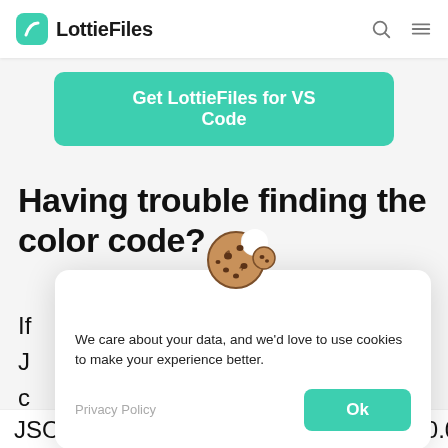LottieFiles
Get LottieFiles for VS Code
Having trouble finding the color code?
If
J
c
v
[Figure (illustration): Cookie emoji illustration - a brown cookie with a bite taken out of it]
We care about your data, and we'd love to use cookies to make your experience better.
Privacy Policy
Ok
JSON file may store the color data as [0.01, 1,